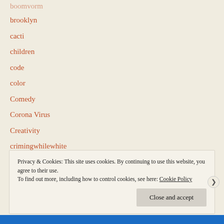brooklyn
cacti
children
code
color
Comedy
Corona Virus
Creativity
crimingwhilewhite
critical seeing
Privacy & Cookies: This site uses cookies. By continuing to use this website, you agree to their use.
To find out more, including how to control cookies, see here: Cookie Policy
Close and accept